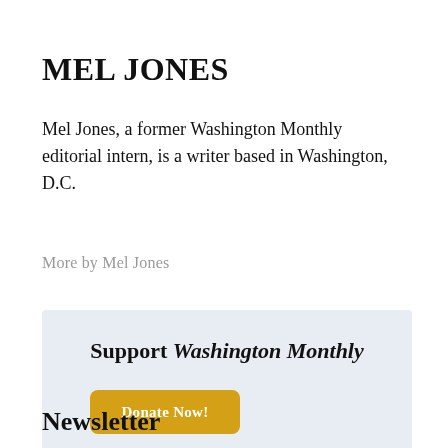MEL JONES
Mel Jones, a former Washington Monthly editorial intern, is a writer based in Washington, D.C.
More by Mel Jones
Support Washington Monthly
Donate Now!
Newsletter